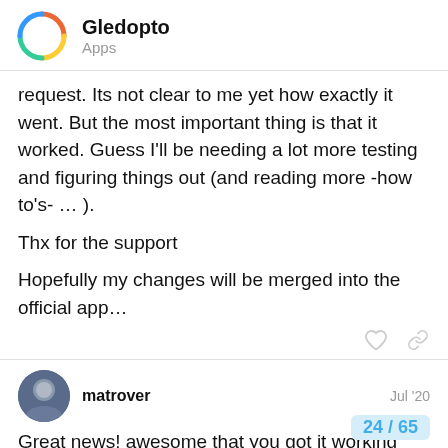Gledopto
Apps
request. Its not clear to me yet how exactly it went. But the most important thing is that it worked. Guess I'll be needing a lot more testing and figuring things out (and reading more -how to's- … ).
Thx for the support
Hopefully my changes will be merged into the official app…
matrover  Jul '20
Great news! awesome that you got it working